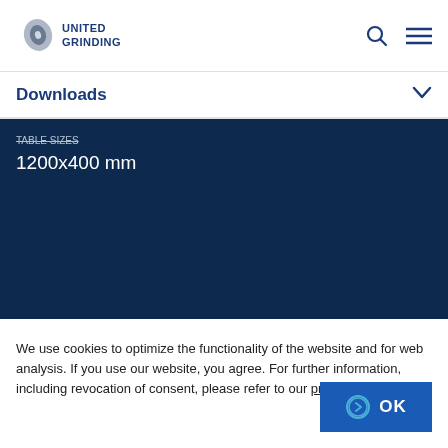UNITED GRINDING
Downloads
1200x400 mm
We use cookies to optimize the functionality of the website and for web analysis. If you use our website, you agree. For further information, including revocation of consent, please refer to our privacy policy.
OK